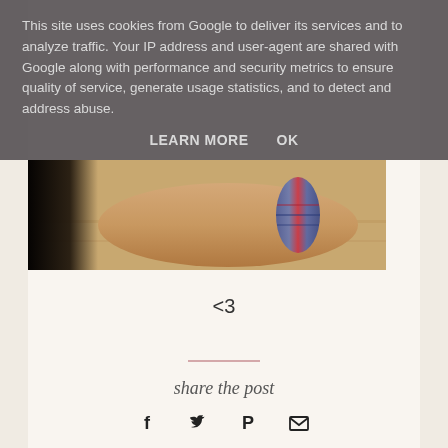This site uses cookies from Google to deliver its services and to analyze traffic. Your IP address and user-agent are shared with Google along with performance and security metrics to ensure quality of service, generate usage statistics, and to detect and address abuse.
LEARN MORE    OK
[Figure (photo): Close-up photo of a wrist wearing a colorful braided bracelet with blue, red and other colors, against a light wooden surface background. Left side of image is dark/shadowed.]
<3
share the post
[Figure (infographic): Row of four social media sharing icons: Facebook (f), Twitter (bird), Pinterest (P), and Email (envelope), all in dark/black color.]